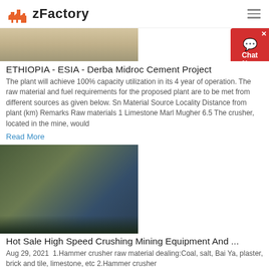zFactory
[Figure (photo): Partial view of a construction or cement plant site with sandy/dusty ground]
ETHIOPIA - ESIA - Derba Midroc Cement Project
The plant will achieve 100% capacity utilization in its 4 year of operation. The raw material and fuel requirements for the proposed plant are to be met from different sources as given below. Sn Material Source Locality Distance from plant (km) Remarks Raw materials 1 Limestone Marl Mugher 6.5 The crusher, located in the mine, would
Read More
[Figure (photo): Mining or crushing equipment at a hillside site with conveyor belt and machinery]
Hot Sale High Speed Crushing Mining Equipment And ...
Aug 29, 2021  1.Hammer crusher raw material dealing:Coal, salt, Bai Ya, plaster, brick and tile, limestone, etc 2.Hammer crusher